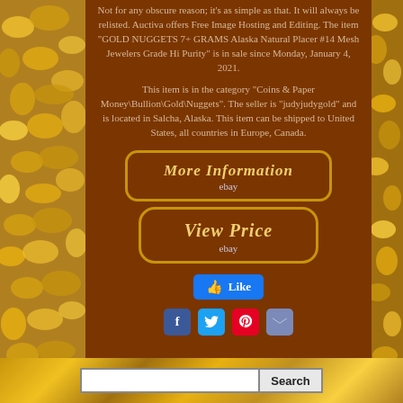Not for any obscure reason; it's as simple as that. It will always be relisted. Auctiva offers Free Image Hosting and Editing. The item "GOLD NUGGETS 7+ GRAMS Alaska Natural Placer #14 Mesh Jewelers Grade Hi Purity" is in sale since Monday, January 4, 2021.
This item is in the category "Coins & Paper Money\Bullion\Gold\Nuggets". The seller is "judyjudygold" and is located in Salcha, Alaska. This item can be shipped to United States, all countries in Europe, Canada.
[Figure (other): Button with text 'More Information' and 'ebay' label, styled with gold border on brown background]
[Figure (other): Button with text 'View Price' and 'ebay' label, styled with gold border on brown background]
[Figure (other): Facebook Like button (blue thumbs up icon with 'Like' text)]
[Figure (other): Social sharing icons: Facebook (blue), Twitter (light blue), Pinterest (red), Email (blue-grey)]
[Figure (other): Search bar with text input and Search button at the bottom of the page]